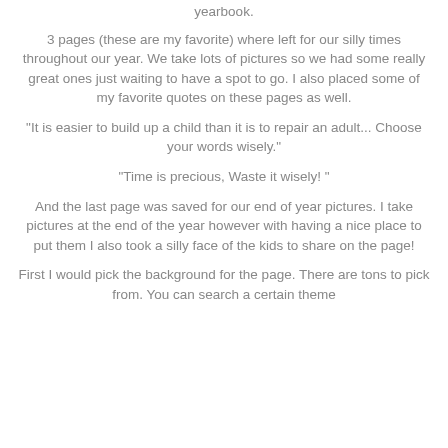yearbook.
3 pages (these are my favorite) where left for our silly times throughout our year. We take lots of pictures so we had some really great ones just waiting to have a spot to go. I also placed some of my favorite quotes on these pages as well.
"It is easier to build up a child than it is to repair an adult... Choose your words wisely."
"Time is precious, Waste it wisely! "
And the last page was saved for our end of year pictures. I take pictures at the end of the year however with having a nice place to put them I also took a silly face of the kids to share on the page!
First I would pick the background for the page. There are tons to pick from. You can search a certain theme